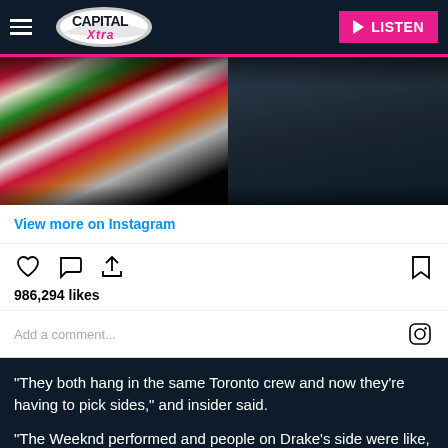Capital Xtra — LISTEN
[Figure (photo): Instagram embed showing two people, one wearing a colorful patterned shirt on the left and another in dark jeans on the right, photographed in a dark setting.]
View more on Instagram
986,294 likes
Add a comment...
"They both hang in the same Toronto crew and now they're having to pick sides," and insider said.
"The Weeknd performed and people on Drake's side were like,